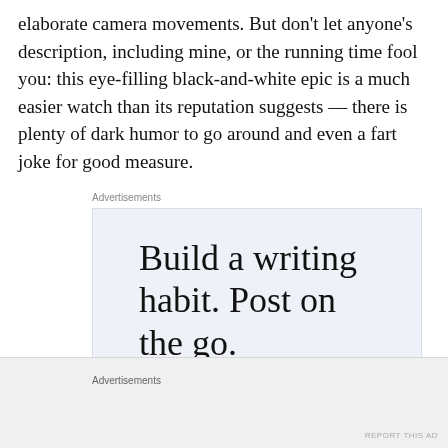elaborate camera movements. But don't let anyone's description, including mine, or the running time fool you: this eye-filling black-and-white epic is a much easier watch than its reputation suggests — there is plenty of dark humor to go around and even a fart joke for good measure.
Advertisements
[Figure (other): Advertisement banner with text 'Build a writing habit. Post on the go.' on a light blue-grey background, with a partially visible blue button at bottom right.]
Advertisements